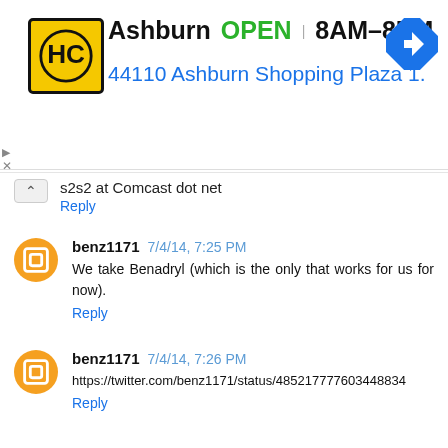[Figure (infographic): Ad banner for HC (Home Care or similar) business in Ashburn: yellow/black logo, OPEN badge, hours 8AM-8PM, address 44110 Ashburn Shopping Plaza 1., navigation arrow icon]
s2s2 at Comcast dot net
Reply
benz1171 7/4/14, 7:25 PM
We take Benadryl (which is the only that works for us for now).
Reply
benz1171 7/4/14, 7:26 PM
https://twitter.com/benz1171/status/485217777603448834
Reply